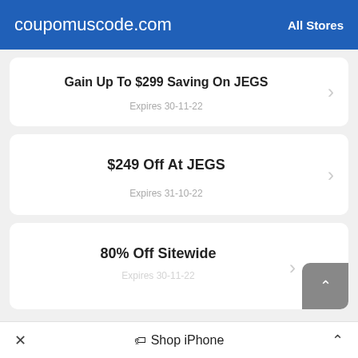coupomuscode.com   All Stores
Gain Up To $299 Saving On JEGS
Expires 30-11-22
$249 Off At JEGS
Expires 31-10-22
80% Off Sitewide
Expires 30-11-22
× ◇ Shop iPhone ^